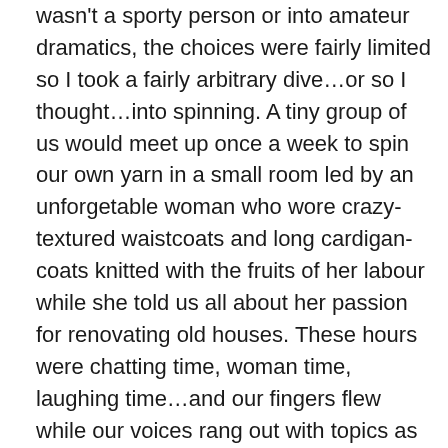wasn't a sporty person or into amateur dramatics, the choices were fairly limited so I took a fairly arbitrary dive…or so I thought…into spinning. A tiny group of us would meet up once a week to spin our own yarn in a small room led by an unforgetable woman who wore crazy-textured waistcoats and long cardigan-coats knitted with the fruits of her labour while she told us all about her passion for renovating old houses. These hours were chatting time, woman time, laughing time…and our fingers flew while our voices rang out with topics as broad as they were fantastical.
As soon as I sat down at that old spinning wheel with a sack of raw wool by my feet, I was away and seemed to know just what to do. I really, deeply knew the oily feel and the smell of that fleece; how its lanolin softened your hands as you worked with it and knew just how to tease it